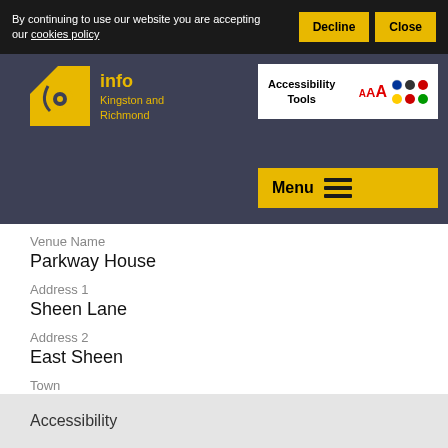By continuing to use our website you are accepting our cookies policy
Decline
Close
[Figure (logo): info Kingston and Richmond logo with yellow spiral icon]
Accessibility Tools AAA
Menu
Venue Name
Parkway House
Address 1
Sheen Lane
Address 2
East Sheen
Town
London
Postcode
SW14 8LS
Accessibility